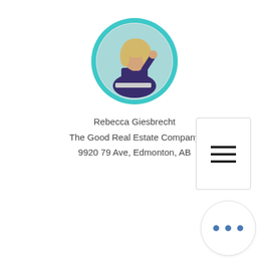[Figure (photo): Circular profile photo of Rebecca Giesbrecht with teal/turquoise border, showing a woman with blonde hair in professional attire]
Rebecca Giesbrecht
The Good Real Estate Company
9920 79 Ave, Edmonton, AB
[Figure (other): White square button with hamburger menu icon (three horizontal lines)]
[Figure (other): White circular button with three blue dots (ellipsis/more options icon)]